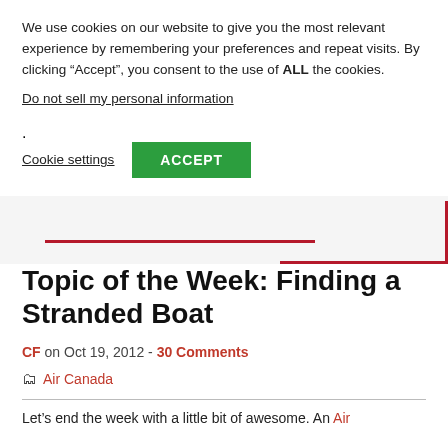We use cookies on our website to give you the most relevant experience by remembering your preferences and repeat visits. By clicking “Accept”, you consent to the use of ALL the cookies.
Do not sell my personal information.
Cookie settings
ACCEPT
[Figure (other): Decorative red horizontal and vertical lines forming a partial bracket/logo graphic on a light grey background]
Topic of the Week: Finding a Stranded Boat
CF on Oct 19, 2012 - 30 Comments
Air Canada
Let’s end the week with a little bit of awesome. An Air